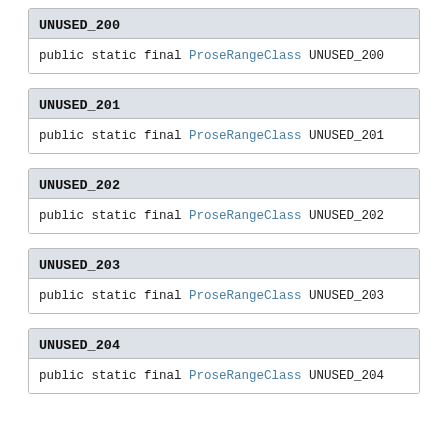UNUSED_200
public static final ProseRangeClass UNUSED_200
UNUSED_201
public static final ProseRangeClass UNUSED_201
UNUSED_202
public static final ProseRangeClass UNUSED_202
UNUSED_203
public static final ProseRangeClass UNUSED_203
UNUSED_204
public static final ProseRangeClass UNUSED_204